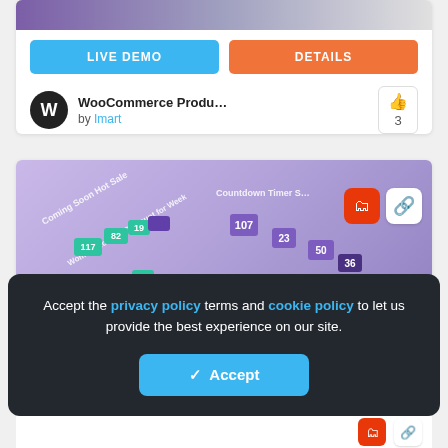[Figure (screenshot): Top portion of a WooCommerce product listing card showing a blurred product screenshot at top]
LIVE DEMO | DETAILS buttons for first card
WooCommerce Produ... by Imart — 3 likes
[Figure (screenshot): Countdown timer plugin promotional image showing 'Best Elementor Countdown Timer' with colorful countdown tile blocks on purple background, with folder and link overlay icons]
LIVE DEMO | DETAILS buttons for second card
Accept the privacy policy terms and cookie policy to let us provide the best experience on our site.
✓ Accept